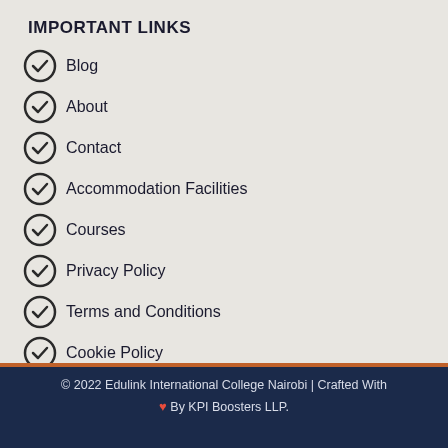IMPORTANT LINKS
Blog
About
Contact
Accommodation Facilities
Courses
Privacy Policy
Terms and Conditions
Cookie Policy
© 2022 Edulink International College Nairobi | Crafted With ♥ By KPI Boosters LLP.